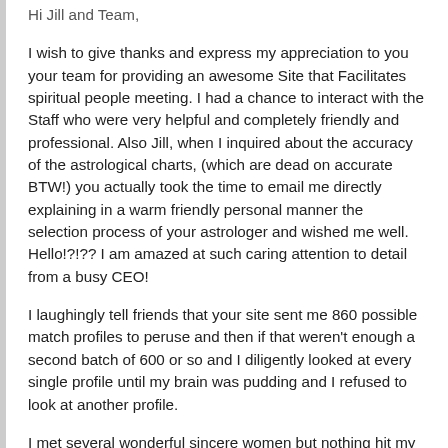Hi Jill and Team,
I wish to give thanks and express my appreciation to you your team for providing an awesome Site that Facilitates spiritual people meeting. I had a chance to interact with the Staff who were very helpful and completely friendly and professional. Also Jill, when I inquired about the accuracy of the astrological charts, (which are dead on accurate BTW!) you actually took the time to email me directly explaining in a warm friendly personal manner the selection process of your astrologer and wished me well. Hello!?!?? I am amazed at such caring attention to detail from a busy CEO!
I laughingly tell friends that your site sent me 860 possible match profiles to peruse and then if that weren't enough a second batch of 600 or so and I diligently looked at every single profile until my brain was pudding and I refused to look at another profile.
I met several wonderful sincere women but nothing hit my intuition until a woman whose profile I remembered looking at twice but never contacted from all of the